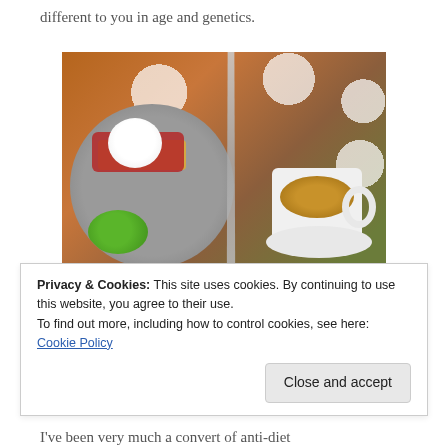different to you in age and genetics.
[Figure (photo): Overhead view of a plate with eggs benedict-style dish with red meat, a poached egg, green herb puree, alongside a fork and knife, and a cup of espresso coffee on a white saucer, on a spotted tablecloth.]
Privacy & Cookies: This site uses cookies. By continuing to use this website, you agree to their use.
To find out more, including how to control cookies, see here:
Cookie Policy
I've been very much a convert of anti-diet